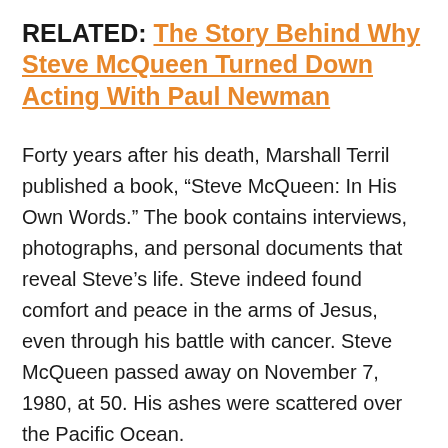RELATED: The Story Behind Why Steve McQueen Turned Down Acting With Paul Newman
Forty years after his death, Marshall Terril published a book, “Steve McQueen: In His Own Words.” The book contains interviews, photographs, and personal documents that reveal Steve’s life. Steve indeed found comfort and peace in the arms of Jesus, even through his battle with cancer. Steve McQueen passed away on November 7, 1980, at 50. His ashes were scattered over the Pacific Ocean.
Steve McQueen’s Career as an